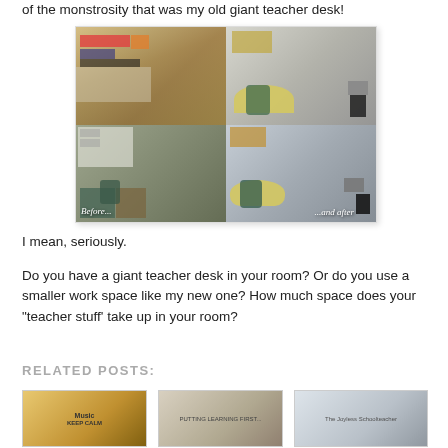of the monstrosity that was my old giant teacher desk!
[Figure (photo): Before and after comparison of a teacher's desk area. Top-left: cluttered desk with binders, papers and supplies. Bottom-left: messy desk area with filing cabinets. Right side: new smaller rounded desk setup with chair and trash can. Labels read 'Before...' and '...and after']
I mean, seriously.
Do you have a giant teacher desk in your room? Or do you use a smaller work space like my new one? How much space does your "teacher stuff' take up in your room?
RELATED POSTS:
[Figure (photo): Thumbnail image 1 - colorful classroom shelves with Keep Calm poster]
[Figure (photo): Thumbnail image 2 - classroom setup with text visible]
[Figure (photo): Thumbnail image 3 - lighter colored classroom wall with text]